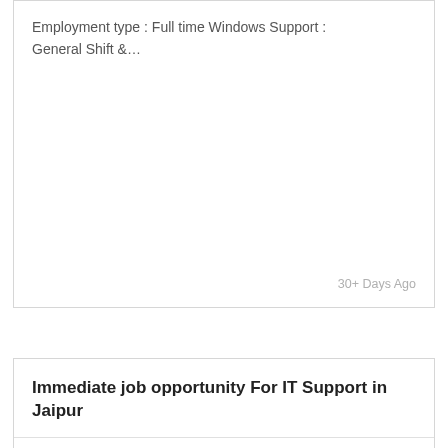Employment type : Full time Windows Support : General Shift &…
30+ Days Ago
Immediate job opportunity For IT Support in Jaipur
1-4 Yrs
Not disclosed
Jaipur
Job Description:
Employment type Full time Education Any Graduation (or) Diploma…